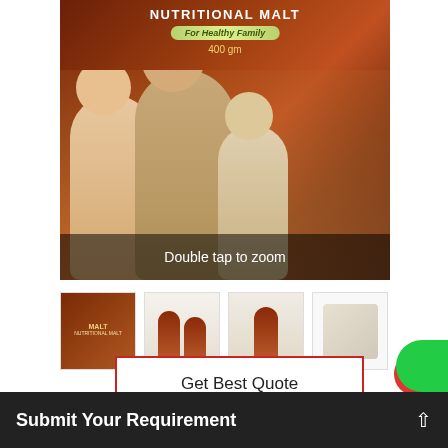[Figure (photo): Product package photo of Nutritional Malt 400gm for Healthy Family showing a family of three (woman, man, child) on a dark red/brown background. Text on package: NUTRITIONAL MALT, For Healthy Family, 400 gm. Overlay text: Double tap to zoom]
[Figure (photo): Thumbnail 1: Dark red box of Maltose/Malt product]
[Figure (photo): Thumbnail 2: Two bottles of the malt product]
[Figure (photo): Thumbnail 3: Single bottle of the malt product]
[Figure (photo): Thumbnail 4: Product accessories/kit]
Get Best Quote
Maltose Chocolate Malt
Submit Your Requirement